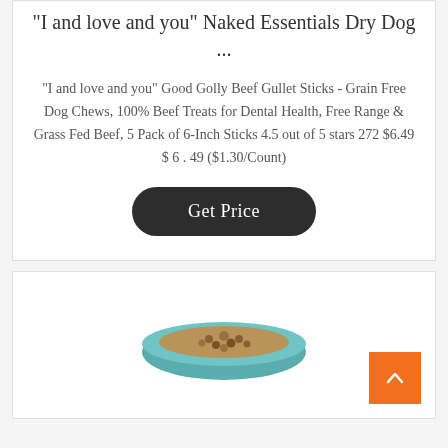"I and love and you" Naked Essentials Dry Dog ...
"I and love and you" Good Golly Beef Gullet Sticks - Grain Free Dog Chews, 100% Beef Treats for Dental Health, Free Range & Grass Fed Beef, 5 Pack of 6-Inch Sticks 4.5 out of 5 stars 272 $6.49 $ 6 . 49 ($1.30/Count)
Get Price
[Figure (photo): A bowl of dog food (wet or dry kibble) in a teal/blue bowl, partially visible at the bottom of the page]